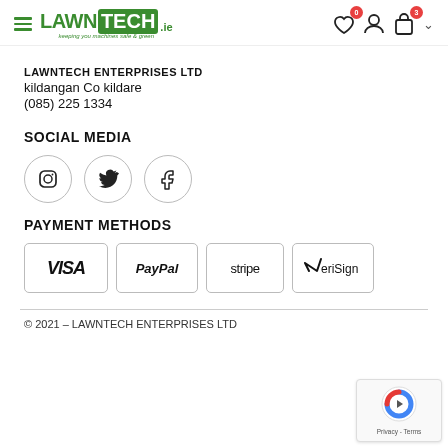LAWNTECH logo with hamburger menu and icons
LAWNTECH ENTERPRISES LTD
kildangan Co kildare
(085) 225 1334
SOCIAL MEDIA
[Figure (other): Three circular social media icon buttons: Instagram, Twitter/X, Facebook]
PAYMENT METHODS
[Figure (other): Payment method logos in bordered boxes: VISA, PayPal, stripe, VeriSign]
© 2021 – LAWNTECH ENTERPRISES LTD